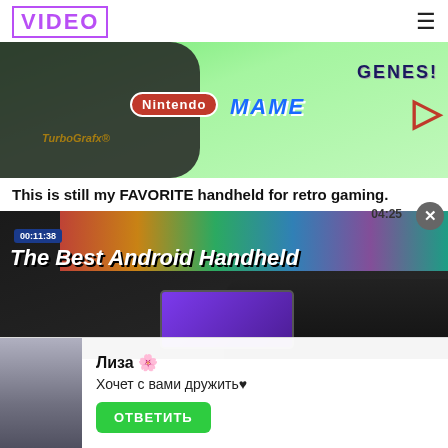VIDEO
[Figure (photo): Handheld retro gaming device on green background with Nintendo, Genesis, MAME, PlayStation logos visible. TurboGrafx logo also visible.]
This is still my FAVORITE handheld for retro gaming.
[Figure (photo): Video thumbnail for 'The Best Android Handheld' showing gaming handheld device with colorful screen, timestamp 00:11:38 in top left.]
Лиза 🌸
Хочет с вами дружить♥
ОТВЕТИТЬ
04:25